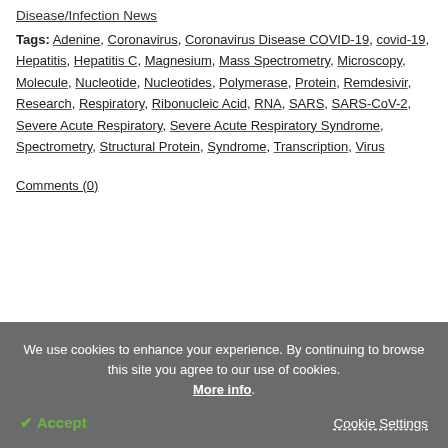Disease/Infection News
Tags: Adenine, Coronavirus, Coronavirus Disease COVID-19, covid-19, Hepatitis, Hepatitis C, Magnesium, Mass Spectrometry, Microscopy, Molecule, Nucleotide, Nucleotides, Polymerase, Protein, Remdesivir, Research, Respiratory, Ribonucleic Acid, RNA, SARS, SARS-CoV-2, Severe Acute Respiratory, Severe Acute Respiratory Syndrome, Spectrometry, Structural Protein, Syndrome, Transcription, Virus
Comments (0)
We use cookies to enhance your experience. By continuing to browse this site you agree to our use of cookies. More info.
✔ Accept
Cookie Settings